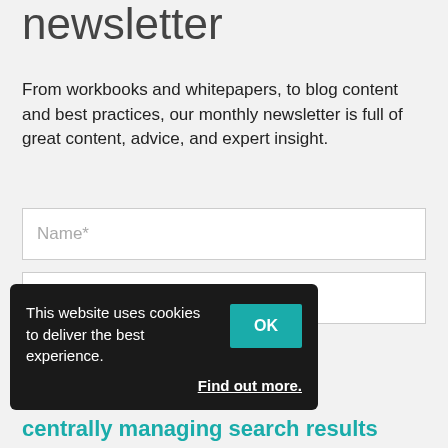newsletter
From workbooks and whitepapers, to blog content and best practices, our monthly newsletter is full of great content, advice, and expert insight.
Name*
Work email*
Sign Me Up
This website uses cookies to deliver the best experience.
OK
Find out more.
centrally managing search results